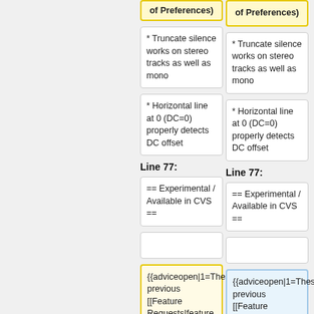of Preferences)
* Truncate silence works on stereo tracks as well as mono
* Truncate silence works on stereo tracks as well as mono
* Horizontal line at 0 (DC=0) properly detects DC offset
* Horizontal line at 0 (DC=0) properly detects DC offset
Line 77:
Line 77:
== Experimental / Available in CVS ==
== Experimental / Available in CVS ==
{{adviceopen|1=These previous [[Feature Requests|feature requests]] are now implemented (possibly experimentally), if you build Audacity
{{adviceopen|1=These previous [[Feature Requests|feature requests]] are now implemented (possibly experimentally), if you build Audacity